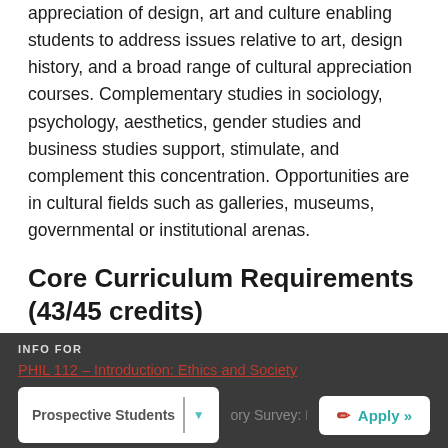appreciation of design, art and culture enabling students to address issues relative to art, design history, and a broad range of cultural appreciation courses. Complementary studies in sociology, psychology, aesthetics, gender studies and business studies support, stimulate, and complement this concentration. Opportunities are in cultural fields such as galleries, museums, governmental or institutional arenas.
Core Curriculum Requirements (43/45 credits)
All majors are required to take the following courses, and are encouraged to take them as part of their Core Curriculum requirements.
INFO FOR | Prospective Students | Apply »